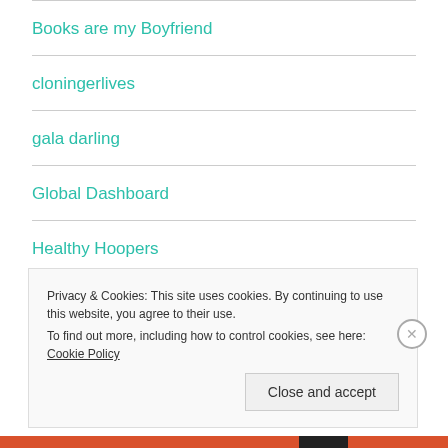Books are my Boyfriend
cloningerlives
gala darling
Global Dashboard
Healthy Hoopers
Hyperbole and a Half
Privacy & Cookies: This site uses cookies. By continuing to use this website, you agree to their use.
To find out more, including how to control cookies, see here: Cookie Policy
Close and accept